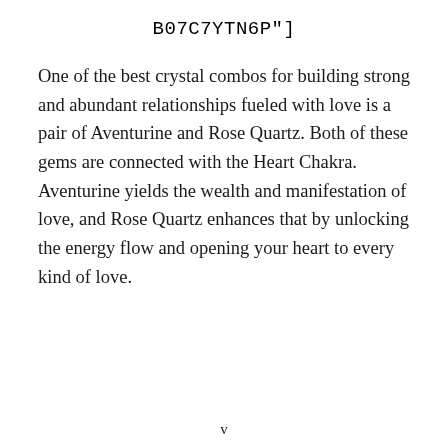B07C7YTN6P"]
One of the best crystal combos for building strong and abundant relationships fueled with love is a pair of Aventurine and Rose Quartz. Both of these gems are connected with the Heart Chakra. Aventurine yields the wealth and manifestation of love, and Rose Quartz enhances that by unlocking the energy flow and opening your heart to every kind of love.
v